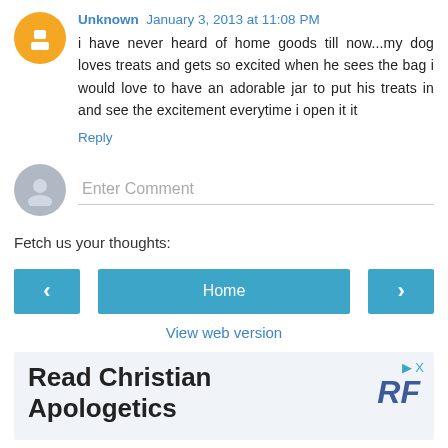Unknown  January 3, 2013 at 11:08 PM
i have never heard of home goods till now...my dog loves treats and gets so excited when he sees the bag i would love to have an adorable jar to put his treats in and see the excitement everytime i open it it
Reply
Enter Comment
Fetch us your thoughts:
Home
View web version
Read Christian Apologetics